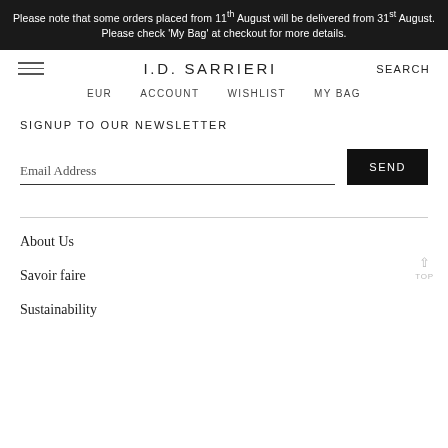Please note that some orders placed from 11th August will be delivered from 31st August. Please check 'My Bag' at checkout for more details.
I.D. SARRIERI
EUR   ACCOUNT   WISHLIST   MY BAG
SIGNUP TO OUR NEWSLETTER
Email Address
SEND
About Us
Savoir faire
Sustainability